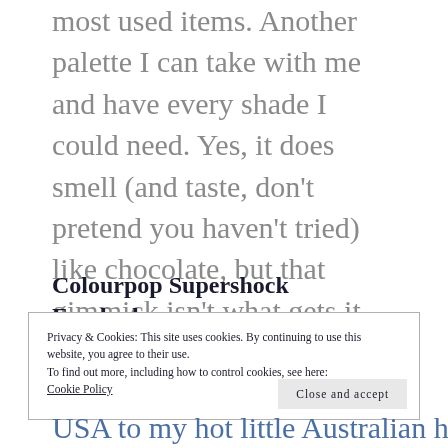most used items. Another palette I can take with me and have every shade I could need. Yes, it does smell (and taste, don't pretend you haven't tried) like chocolate, but that gimmick isn't what gets it across the line as a solid performer.
Colourpop Supershock Eyeshadows:
Privacy & Cookies: This site uses cookies. By continuing to use this website, you agree to their use.
To find out more, including how to control cookies, see here:
Cookie Policy
[Close and accept]
USA to my hot little Australian hands.